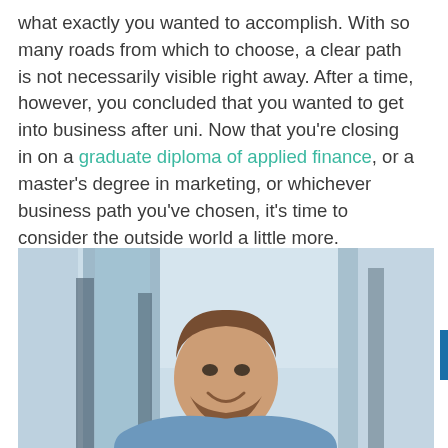what exactly you wanted to accomplish. With so many roads from which to choose, a clear path is not necessarily visible right away. After a time, however, you concluded that you wanted to get into business after uni. Now that you're closing in on a graduate diploma of applied finance, or a master's degree in marketing, or whichever business path you've chosen, it's time to consider the outside world a little more.
[Figure (photo): A smiling young man with a beard wearing a light blue shirt, arms crossed, standing in a bright modern office or corridor with glass windows in the background.]